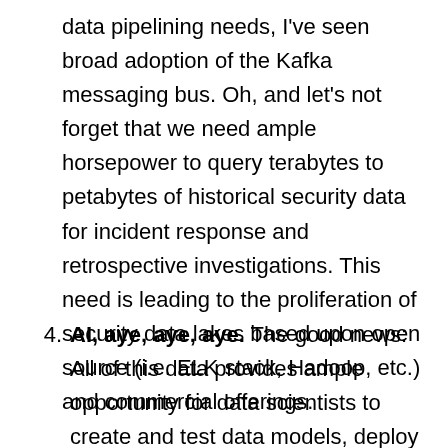data pipelining needs, I've seen broad adoption of the Kafka messaging bus. Oh, and let's not forget that we need ample horsepower to query terabytes to petabytes of historical security data for incident response and retrospective investigations. This need is leading to the proliferation of security data lakes based upon open source (i.e. ELK stack, Hadoop, etc.) and commercial offerings.
4. AI, aye, aye, aye. The good news: All of this data provides ample opportunity for data scientists to create and test data models, deploy ML algorithms, and transform f...